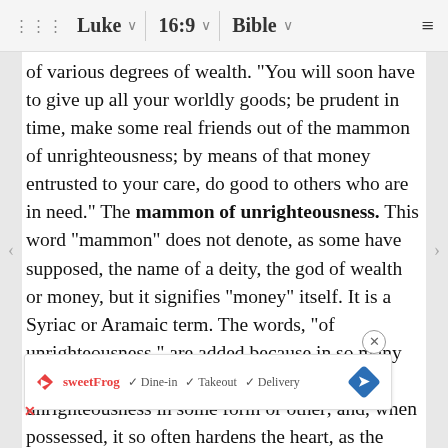⠿ Luke ∨  16:9 ∨  Bible ∨  ≡
of various degrees of wealth. "You will soon have to give up all your worldly goods; be prudent in time, make some real friends out of the mammon of unrighteousness; by means of that money entrusted to your care, do good to others who are in need." The mammon of unrighteousness. This word "mammon" does not denote, as some have supposed, the name of a deity, the god of wealth or money, but it signifies "money" itself. It is a Syriac or Aramaic term. The words, "of unrighteousness," are added because in so many cases the getting of money is tainted with unrighteousness in some form or other; and, when possessed, it so often hardens the heart, as the Lord himself said in another place (Luke 18:25), that it was easier for a camel to pass through... to enter... of my st...